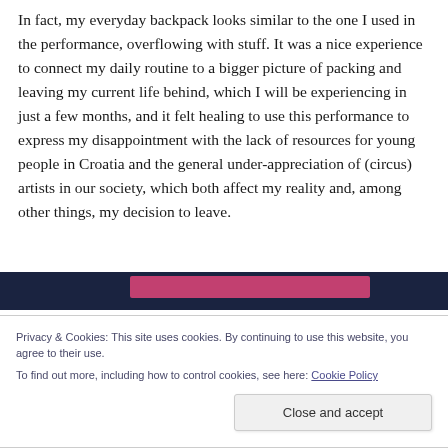In fact, my everyday backpack looks similar to the one I used in the performance, overflowing with stuff. It was a nice experience to connect my daily routine to a bigger picture of packing and leaving my current life behind, which I will be experiencing in just a few months, and it felt healing to use this performance to express my disappointment with the lack of resources for young people in Croatia and the general under-appreciation of (circus) artists in our society, which both affect my reality and, among other things, my decision to leave.
[Figure (photo): Partial view of an image strip showing dark navy and pink/rose colored bands, partially obscured by cookie banner overlay]
Privacy & Cookies: This site uses cookies. By continuing to use this website, you agree to their use.
To find out more, including how to control cookies, see here: Cookie Policy
Close and accept